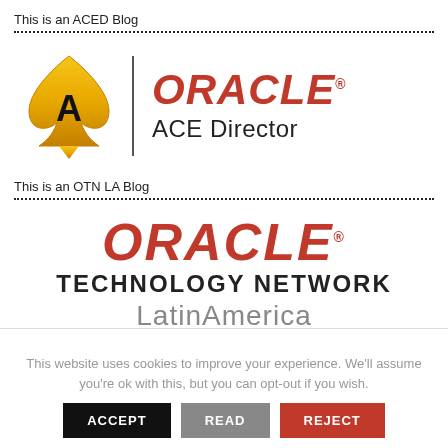This is an ACED Blog
[Figure (logo): Oracle ACE Director logo: golden spade with letter A, vertical divider line, red italic ORACLE with registered mark, and ACE Director text below]
This is an OTN LA Blog
[Figure (logo): Oracle Technology Network Latin America logo: red italic ORACLE with registered mark, bold TECHNOLOGY NETWORK in black, LatinAmerica in gray]
This website uses cookies to improve your experience. We'll assume you're ok with this, but you can opt-out if you wish.